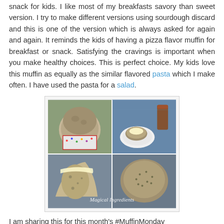snack for kids. I like most of my breakfasts savory than sweet version. I try to make different versions using sourdough discard and this is one of the version which is always asked for again and again. It reminds the kids of having a pizza flavor muffin for breakfast or snack. Satisfying the cravings is important when you make healthy choices. This is perfect choice. My kids love this muffin as equally as the similar flavored pasta which I make often. I have used the pasta for a salad.
[Figure (photo): A collage of four food photos showing muffins in colorful cupcake liners, a muffin on a plate with butter, a muffin cut in half showing the interior, and a muffin top viewed from above. Watermark reads 'Magical Ingredients'.]
I am sharing this for this month's #MuffinMonday